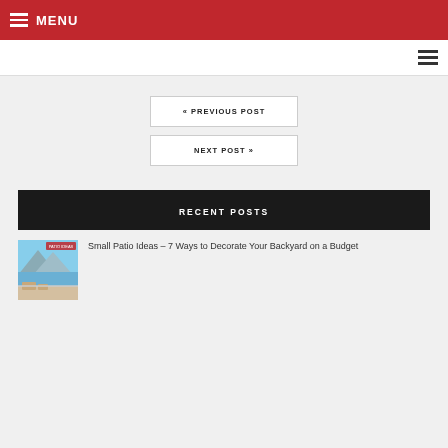MENU
« PREVIOUS POST
NEXT POST »
RECENT POSTS
[Figure (photo): Thumbnail image of a patio with mountain and water view]
Small Patio Ideas – 7 Ways to Decorate Your Backyard on a Budget